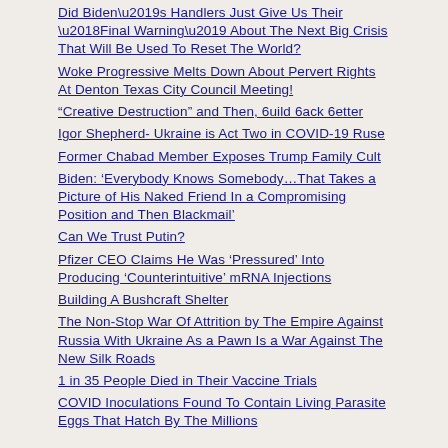Did Biden’s Handlers Just Give Us Their ‘Final Warning’ About The Next Big Crisis That Will Be Used To Reset The World?
Woke Progressive Melts Down About Pervert Rights At Denton Texas City Council Meeting!
“Creative Destruction” and Then, 6uild 6ack 6etter
Igor Shepherd- Ukraine is Act Two in COVID-19 Ruse
Former Chabad Member Exposes Trump Family Cult
Biden: ‘Everybody Knows Somebody…That Takes a Picture of His Naked Friend In a Compromising Position and Then Blackmail’
Can We Trust Putin?
Pfizer CEO Claims He Was ‘Pressured’ Into Producing ‘Counterintuitive’ mRNA Injections
Building A Bushcraft Shelter
The Non-Stop War Of Attrition by The Empire Against Russia With Ukraine As a Pawn Is a War Against The New Silk Roads
1 in 35 People Died in Their Vaccine Trials
COVID Inoculations Found To Contain Living Parasite Eggs That Hatch By The Millions